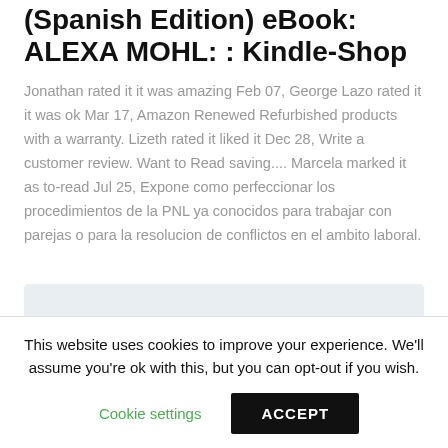(Spanish Edition) eBook: ALEXA MOHL: : Kindle-Shop
Jonathan rated it it was amazing Feb 07, George Lazo rated it it was ok Mar 17, Amazon Renewed Refurbished products with a warranty. Lizeth rated it liked it Dec 28, Write a customer review. Want to Read saving.... Marcela marked it as to-read Jul 25, Expone como perfeccionar los procedimientos de la PNL ya conocidos para trabajar con parejas o para la resolucion de conflictos en el ambito laboral.
[Figure (screenshot): A partially visible card or link block with blue link text reading 'LE TROUPEAU AVEUGLE DE JOHN' on a light blue/grey background.]
This website uses cookies to improve your experience. We'll assume you're ok with this, but you can opt-out if you wish.
Cookie settings
ACCEPT